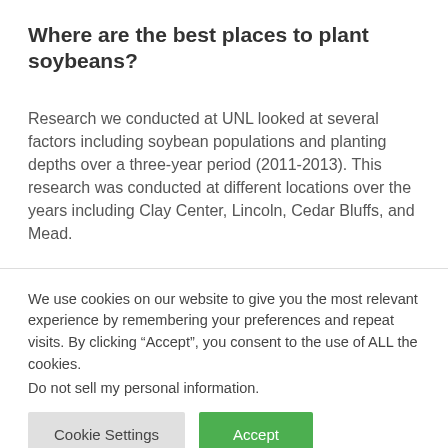Where are the best places to plant soybeans?
Research we conducted at UNL looked at several factors including soybean populations and planting depths over a three-year period (2011-2013). This research was conducted at different locations over the years including Clay Center, Lincoln, Cedar Bluffs, and Mead.
We use cookies on our website to give you the most relevant experience by remembering your preferences and repeat visits. By clicking “Accept”, you consent to the use of ALL the cookies.
Do not sell my personal information.